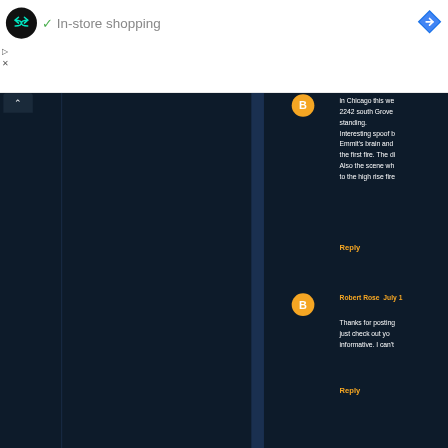[Figure (screenshot): Screenshot of a web page showing an ad banner at the top with a black circular logo with double-arrow icon, a green checkmark, and the text 'In-store shopping', plus a blue Google Maps-style diamond icon at right. Below the banner is a dark-themed blog comment section showing two partial comments. First comment mentions Chicago, 2242 south Grove, Emmit's brain, fires. Second comment by Robert Rose mentions thanks for posting, checking out, informative. Both have orange Reply links. There are vertical column dividers and an orange Blogger 'B' avatar.]